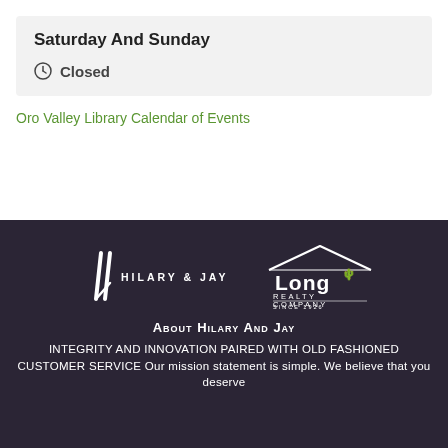Saturday And Sunday
Closed
Oro Valley Library Calendar of Events
[Figure (logo): Hilary & Jay and Long Realty Company logos on dark background]
About Hilary And Jay
INTEGRITY AND INNOVATION PAIRED WITH OLD FASHIONED CUSTOMER SERVICE Our mission statement is simple. We believe that you deserve